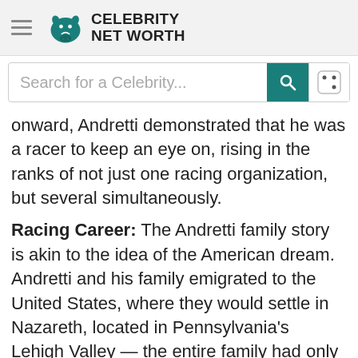Celebrity Net Worth
Search for a Celebrity...
onward, Andretti demonstrated that he was a racer to keep an eye on, rising in the ranks of not just one racing organization, but several simultaneously.
Racing Career: The Andretti family story is akin to the idea of the American dream. Andretti and his family emigrated to the United States, where they would settle in Nazareth, located in Pennsylvania's Lehigh Valley — the entire family had only $125 to their name. Andretti would finish high school in 1959 with an original plan and aspirations to become a tradesman in welding. Andretti, ironically, would have to falsify his driver's license in order to pass for a 21-year-old. It was at this point that Andretti would enter his first amateur race. As
order to pass for a 21-year-old. It was at this point that Andretti would enter his first amateur race. As